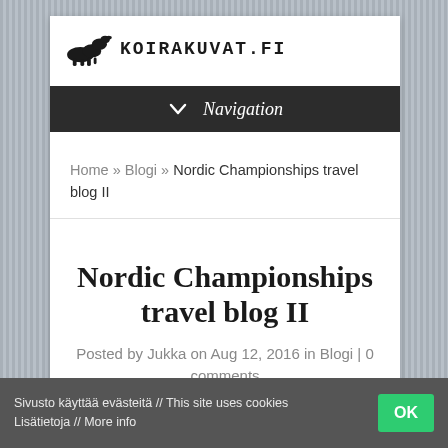KOIRAKUVAT.FI
Navigation
Home » Blogi » Nordic Championships travel blog II
Nordic Championships travel blog II
Posted by Jukka on Aug 12, 2016 in Blogi | 0 comments
Sivusto käyttää evästeitä // This site uses cookies Lisätietoja // More info